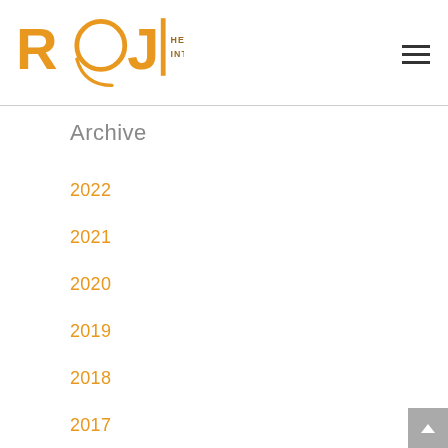ROJI HEALTH INTELLIGENCE
Archive
2022
2021
2020
2019
2018
2017
2016
2015